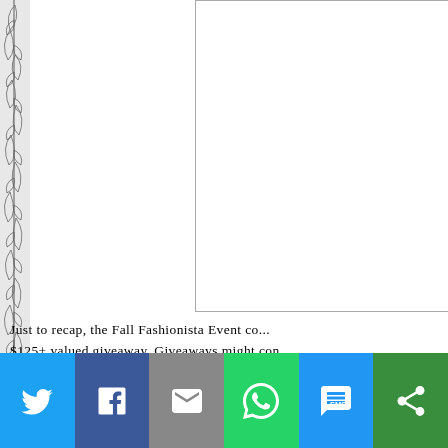[Figure (illustration): Left-side decorative strip with black and white illustrated pattern (foliage/botanical motif)]
[Figure (other): White rectangular advertisement placeholder box with border on the right side of the page]
Just to recap, the Fall Fashionista Event co... $125+ valued giveaway. Giveaways might con... value. A little birdie told me that many blog... has a prize summed at over $4k! All giveawa... so you'll have 6 days to enter each and every...
[Figure (other): Social share bar at bottom with Twitter, Facebook, Email, WhatsApp, SMS, and more sharing icons]